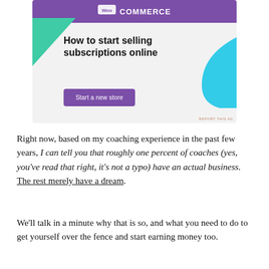[Figure (illustration): Advertisement banner for WooCommerce showing 'How to start selling subscriptions online' with a 'Start a new store' button, purple top bar with logo, green triangle and light blue decorative shapes on grey background.]
Right now, based on my coaching experience in the past few years, I can tell you that roughly one percent of coaches (yes, you've read that right, it's not a typo) have an actual business.  The rest merely have a dream.
We'll talk in a minute why that is so, and what you need to do to get yourself over the fence and start earning money too.